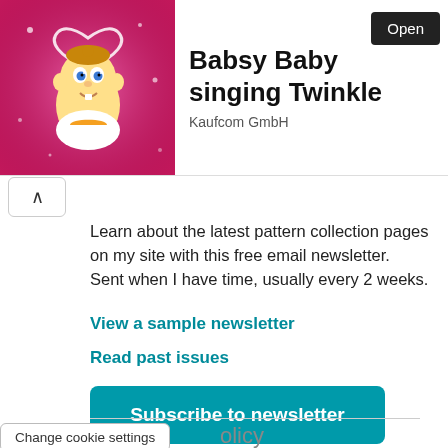[Figure (screenshot): Ad banner for 'Babsy Baby singing Twinkle' by Kaufcom GmbH with cartoon baby image on pink background, Open button, and ad attribution arrows]
Learn about the latest pattern collection pages on my site with this free email newsletter.
Sent when I have time, usually every 2 weeks.
View a sample newsletter
Read past issues
Subscribe to newsletter
Change cookie settings
olicy